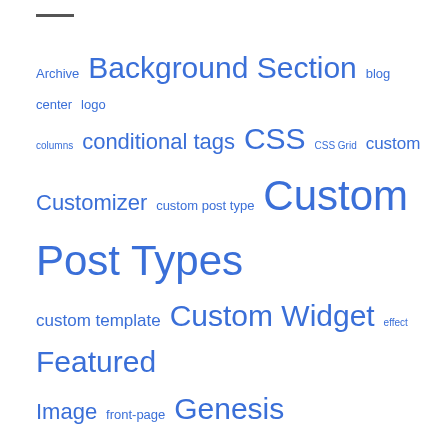[Figure (other): Tag cloud with various WordPress/web development terms in different font sizes, all in blue color. Terms include Archive, Background Section, blog, center, logo, columns, conditional tags, CSS, CSS Grid, custom, Customizer, custom post type, Custom Post Types, custom template, Custom Widget, effect, Featured Image, front-page, Genesis, Genesis Sample, header right, hero section, Image Background, js, layout, Logo, menu, navigation, Navigation Menu, Nav Menu, newsletter, post, page, related posts, responsive menu, search, search widget, Shrinking Logo, site header, slide in-out, Split Navigation, Stylesheet, Template, Utility Bar, Video Background, widgets, WordPress]